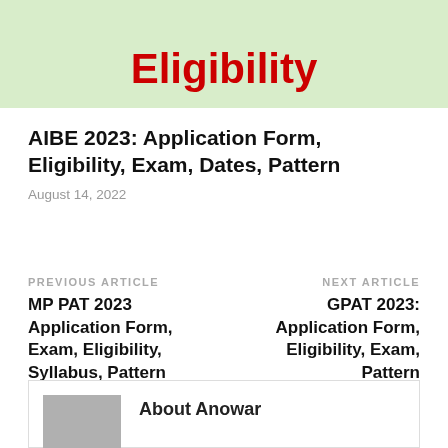[Figure (illustration): Light green banner with bold red 'Eligibility' text centered on it]
AIBE 2023: Application Form, Eligibility, Exam, Dates, Pattern
August 14, 2022
PREVIOUS ARTICLE
MP PAT 2023 Application Form, Exam, Eligibility, Syllabus, Pattern
NEXT ARTICLE
GPAT 2023: Application Form, Eligibility, Exam, Pattern
About Anowar